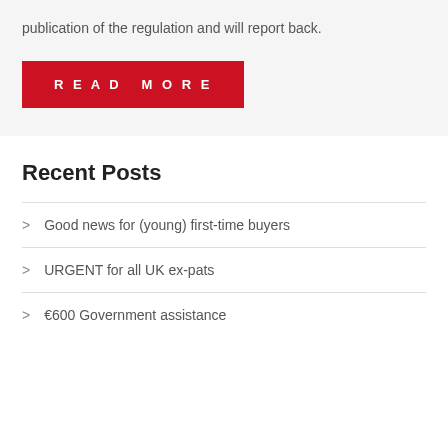publication of the regulation and will report back.
[Figure (other): Red 'Read More' button]
Recent Posts
Good news for (young) first-time buyers
URGENT for all UK ex-pats
€600 Government assistance